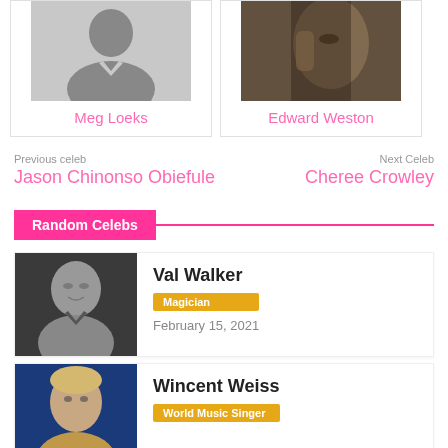[Figure (photo): Placeholder avatar silhouette icon for Meg Loeks]
Meg Loeks
[Figure (photo): Photo of Edward Weston, grayscale portrait]
Edward Weston
Previous celeb
Jason Chinonso Obiefule
Next Celeb
Cheree Crowley
Random Celebs
[Figure (photo): Black and white portrait photo of Val Walker]
Val Walker
Magician
February 15, 2021
[Figure (photo): Color photo of Wincent Weiss, blue background]
Wincent Weiss
World Music Singer